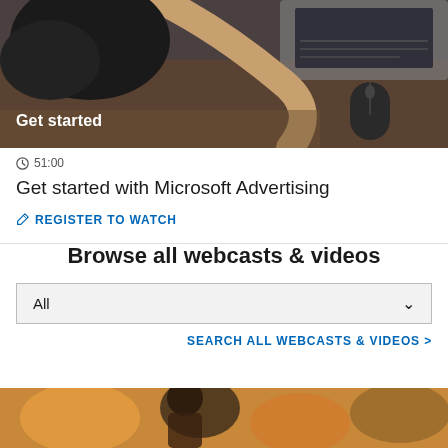[Figure (photo): Overhead view of a person with dark hair working at a desk with a laptop and a wireless mouse on a wooden surface. White text 'Get started' overlaid on the bottom left.]
51:00
Get started with Microsoft Advertising
REGISTER TO WATCH
Browse all webcasts & videos
All
SEARCH ALL WEBCASTS & VIDEOS >
[Figure (photo): Partial bottom image showing people at a gathering or event with warm tones.]